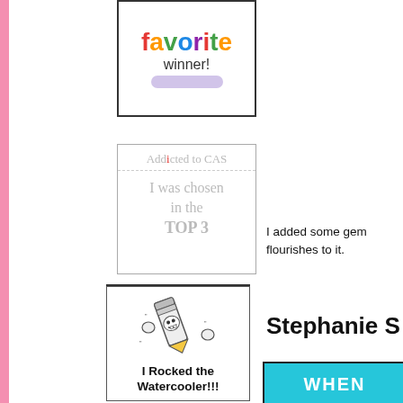[Figure (illustration): Favorite Winner badge with colorful text]
[Figure (illustration): Addicted to CAS - I was chosen in the TOP 3 badge]
I added some gem flourishes to it.
[Figure (illustration): I Rocked the Watercooler badge with pencil cartoon character]
Stephanie S
[Figure (illustration): Bottom right image showing WHEN text on teal background]